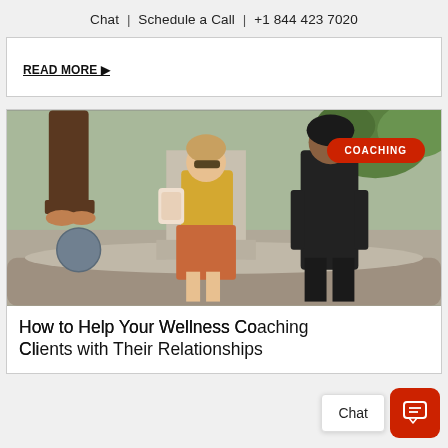Chat | Schedule a Call | +1 844 423 7020
READ MORE ▶
[Figure (photo): Two people standing near a fountain in an outdoor setting; one person wearing a yellow jacket with an orange skirt and backpack, another in all black. A third person is partially visible in the background. A red 'COACHING' badge overlays the upper right of the image.]
How to Help Your Wellness Coaching Clients with Their Relationships